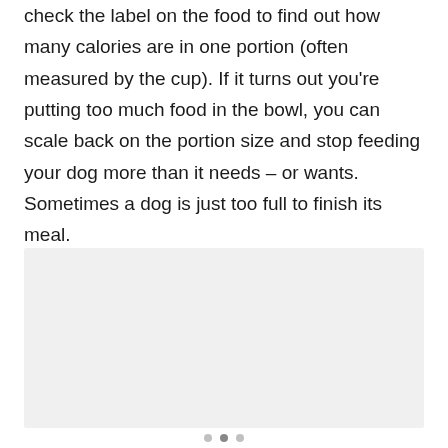check the label on the food to find out how many calories are in one portion (often measured by the cup). If it turns out you're putting too much food in the bowl, you can scale back on the portion size and stop feeding your dog more than it needs – or wants. Sometimes a dog is just too full to finish its meal.
[Figure (photo): A light gray placeholder image block, likely a photo of a dog or dog food, shown below the text paragraph.]